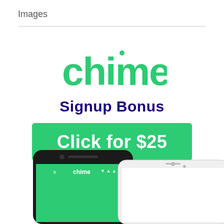Images
[Figure (logo): Chime green logo with stylized lettering]
Signup Bonus
[Figure (infographic): Green button with white text: Click for $25]
[Figure (photo): Two smartphones showing the Chime mobile banking app — an Android phone on the left and an iPhone on the right, both partially visible at the bottom of the image]